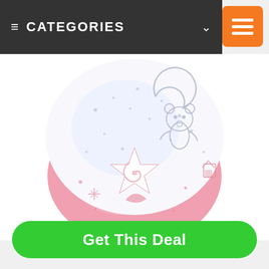CATEGORIES
[Figure (photo): Pink baby night light projector in a spherical shape with white glowing top half showing star/moon/bear patterns, and pink bottom half with a white star emblem]
Get This Deal